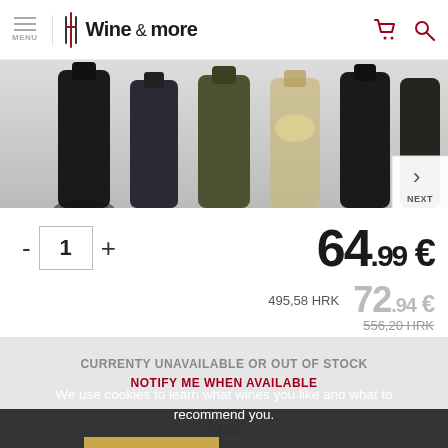MENU | Wine & more
[Figure (photo): Row of wine bottles shown from below against a light background, with a NEXT navigation button on the right]
- 1 +   64.99 €
495,58 HRK  72.94 €
556,20 HRK (strikethrough)
CURRENTY UNAVAILABLE OR OUT OF STOCK
NOTIFY ME WHEN AVAILABLE
We use cookies to learn what wines you like and what to recommend you.
I AGREE
LEARN MORE
Josić
Gra    Toreta